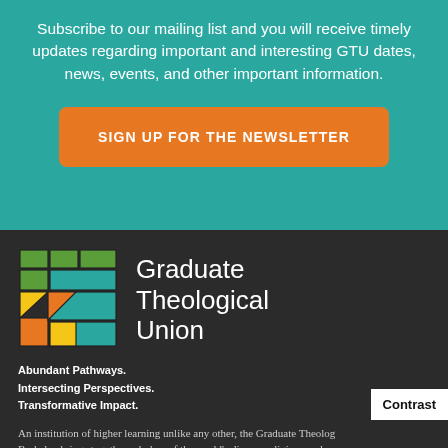Subscribe to our mailing list and you will receive timely updates regarding important and interesting GTU dates, news, events, and other important information.
SIGN UP FOR THE NEWSLETTER
[Figure (logo): Graduate Theological Union colorful mosaic logo with green, teal, yellow, and orange geometric shapes forming an X/star pattern]
Graduate Theological Union
Abundant Pathways.
Intersecting Perspectives.
Transformative Impact.
An institution of higher learning unlike any other, the Graduate Theological Union in Berkeley brings together scholars of the world's diverse religions and w...